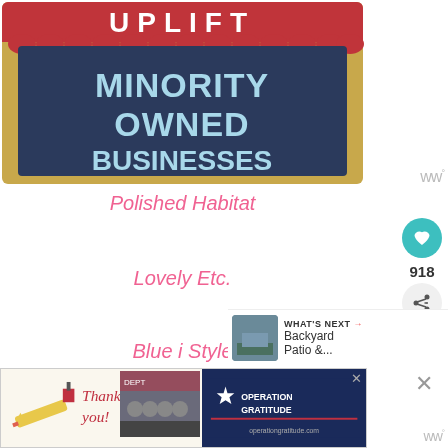[Figure (illustration): Decorative sign illustration with 'UPLIFT MINORITY OWNED BUSINESSES' text on a dark navy board with gold frame and red scalloped top banner]
Polished Habitat
Lovely Etc.
Blue i Style
[Figure (infographic): WHAT'S NEXT arrow label with thumbnail image of Backyard Patio & ...]
[Figure (photo): Advertisement banner: Thank You with Operation Gratitude logo and firefighters photo]